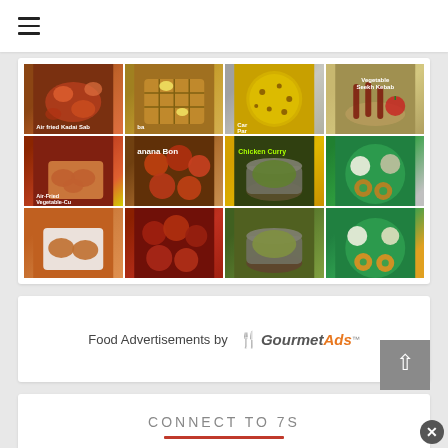≡
[Figure (photo): Grid of food photos: Air fried Kadai Sabzi, banana waffle, Carrot Paratha, Vegetable Seekh Kebab, Air-Fried Vegetable Cutlet, Banana Bonda, Chicken Curry, South Indian platter]
Food Advertisements by 🍴GourmetAds™
CONNECT TO 7S